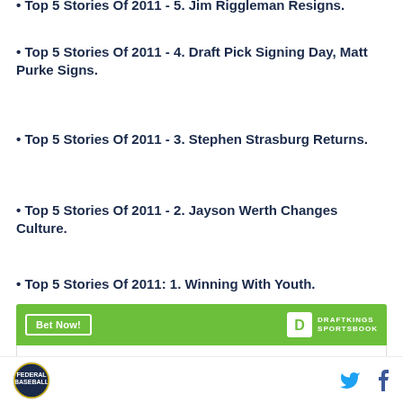• Top 5 Stories Of 2011 - 5. Jim Riggleman Resigns.
• Top 5 Stories Of 2011 - 4. Draft Pick Signing Day, Matt Purke Signs.
• Top 5 Stories Of 2011 - 3. Stephen Strasburg Returns.
• Top 5 Stories Of 2011 - 2. Jayson Werth Changes Culture.
• Top 5 Stories Of 2011: 1. Winning With Youth.
[Figure (infographic): DraftKings Sportsbook advertisement banner with Bet Now button and Patrick Corbin player info box]
Site logo, Twitter icon, Facebook icon